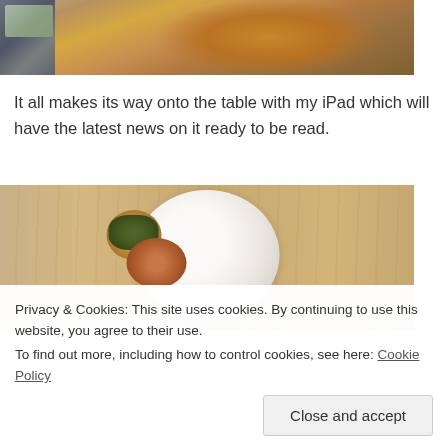[Figure (photo): Overhead photo of a croissant on a white plate with what appears to be a small electronic device (iPad or tablet) visible at the edge on a wooden surface]
It all makes its way onto the table with my iPad which will have the latest news on it ready to be read.
[Figure (photo): Overhead photo of a white bowl/plate on a wooden surface containing what appears to be eggs benedict or similar brunch dish with ham and greens]
Privacy & Cookies: This site uses cookies. By continuing to use this website, you agree to their use.
To find out more, including how to control cookies, see here: Cookie Policy
Close and accept